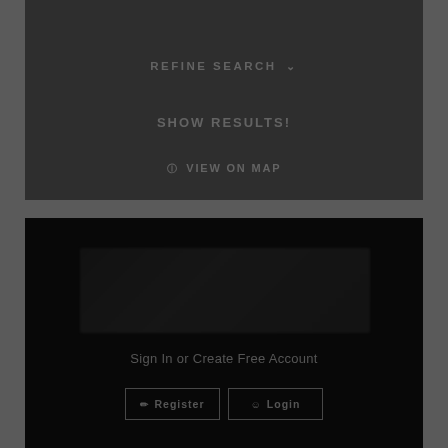✕ Max Price: 1809000
REFINE SEARCH ˅
SHOW RESULTS!
♦ VIEW ON MAP
[Figure (screenshot): Blurred/obscured content area in a dark black panel — appears to be a blurred real estate listing or map screenshot]
Sign In or Create Free Account
Register  Login